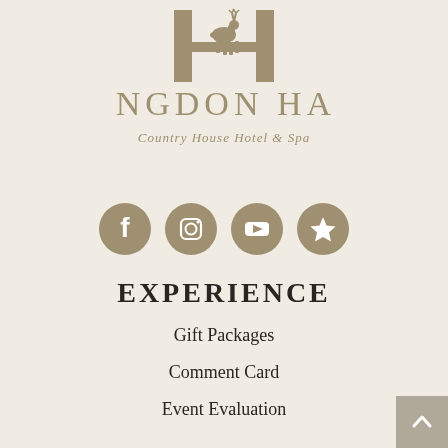[Figure (logo): Langdon Hall Country House Hotel & Spa logo with deer emblem and stylized HH monogram in taupe/gold color]
[Figure (infographic): Four circular social media icons in taupe: Facebook, Instagram, YouTube, and a star/review icon]
EXPERIENCE
Gift Packages
Comment Card
Event Evaluation